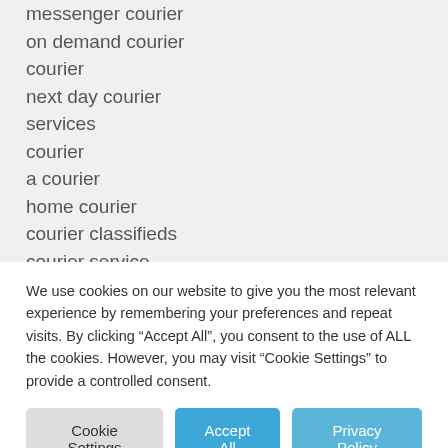messenger courier
on demand courier
courier
next day courier
services
courier
a courier
home courier
courier classifieds
courier service
company
We use cookies on our website to give you the most relevant experience by remembering your preferences and repeat visits. By clicking “Accept All”, you consent to the use of ALL the cookies. However, you may visit “Cookie Settings” to provide a controlled consent.